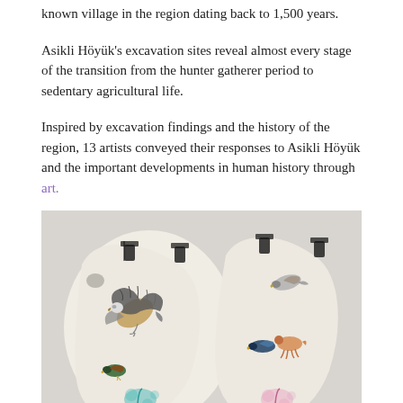known village in the region dating back to 1,500 years.
Asikli Höyük's excavation sites reveal almost every stage of the transition from the hunter gatherer period to sedentary agricultural life.
Inspired by excavation findings and the history of the region, 13 artists conveyed their responses to Asikli Höyük and the important developments in human history through art.
[Figure (photo): Two cream-colored irregular ceramic/leather panels hung with binder clips, each painted with birds in flight and nature motifs — left panel shows a large raptor, a duck, and teal floral designs; right panel shows two smaller birds and a running deer in orange, with pink floral designs.]